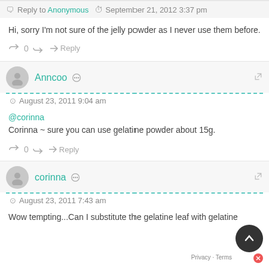Ann@Anncoo Journal
Reply to Anonymous  September 21, 2012 3:37 pm
Hi, sorry I'm not sure of the jelly powder as I never use them before.
0  Reply
Anncoo
August 23, 2011 9:04 am
@corinna
Corinna ~ sure you can use gelatine powder about 15g.
0  Reply
corinna
August 23, 2011 7:43 am
Wow tempting...Can I substitute the gelatine leaf with gelatine